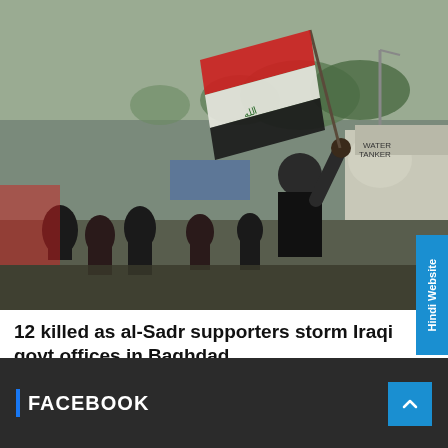[Figure (photo): Crowd scene with a person in a black shirt and cap raising their fist holding an Iraqi flag (red, white, black stripes with green eagle emblem) in what appears to be a street protest in Baghdad. Various people are gathered in the background near vehicles and tents.]
12 killed as al-Sadr supporters storm Iraqi govt offices in Baghdad
August 30, 2022   Absolute India
FACEBOOK
[Figure (other): Hindi Website vertical tab on right side, blue background]